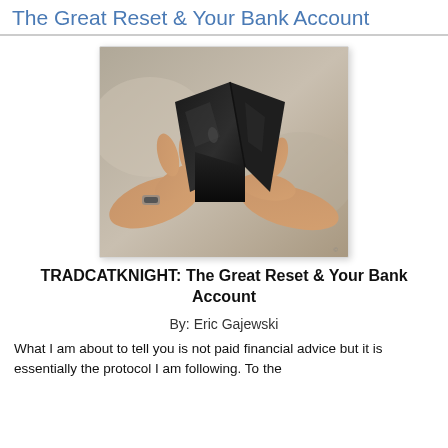The Great Reset & Your Bank Account
[Figure (photo): Two hands holding open an empty black leather wallet, photographed close-up against a blurred beige background.]
TRADCATKNIGHT: The Great Reset & Your Bank Account
By: Eric Gajewski
What I am about to tell you is not paid financial advice but it is essentially the protocol I am following. To the